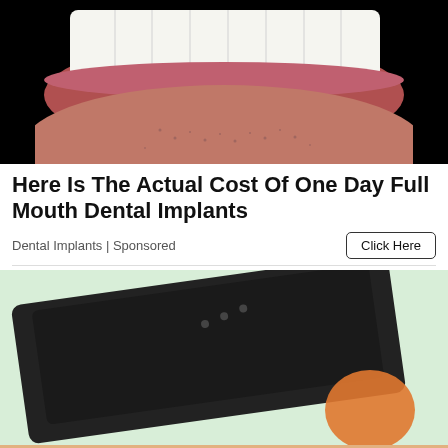[Figure (photo): Close-up photo of a man's smile showing white teeth and lower face with stubble, against black background]
Here Is The Actual Cost Of One Day Full Mouth Dental Implants
Dental Implants | Sponsored
[Figure (screenshot): Partial screenshot of a laptop on light green background]
[Figure (photo): Game advertisement banner with peach/tan striped background showing blue human figures and text 'Hold and Move' with close/question buttons]